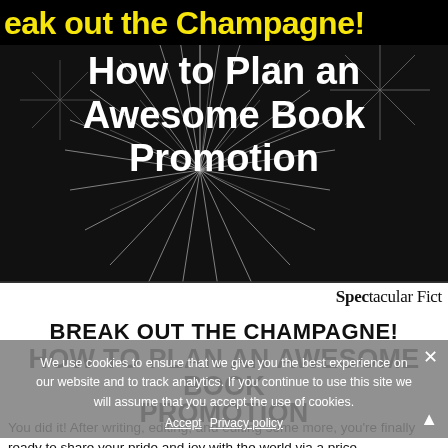[Figure (illustration): Dark background with fireworks/starburst graphic. Yellow bold text at top reads 'eak out the Champagne!' (partially cropped). White bold centered text reads 'How to Plan an Awesome Book Promotion'. Bottom strip reads 'Spectacular Fict' (cropped). Brand: Spectacular Fiction.]
BREAK OUT THE CHAMPAGNE!
HOW TO PLAN AN AWESOME BOOK PROMOTION
We use cookies to ensure that we give you the best experience on our website and to track analytics. If you continue to use this site we will assume that you accept the use of cookies.
You did it! After writing, editing, and editing some more, you're finally ready to share your pride and joy with the world via a price